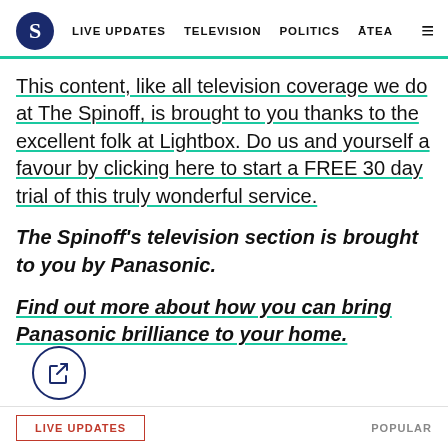S  LIVE UPDATES  TELEVISION  POLITICS  ĀTEA
This content, like all television coverage we do at The Spinoff, is brought to you thanks to the excellent folk at Lightbox. Do us and yourself a favour by clicking here to start a FREE 30 day trial of this truly wonderful service.
The Spinoff's television section is brought to you by Panasonic.
Find out more about how you can bring Panasonic brilliance to your home.
LIVE UPDATES    POPULAR